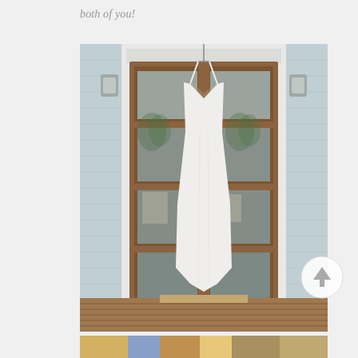both of you!
[Figure (photo): A white wedding dress hanging on a wooden French door with glass panels. The dress is sleeveless with a V-neckline, hanging from a hanger. Palm trees and a building are reflected in the glass. The door is set in a light blue/grey clapboard house exterior with porch lights visible on either side.]
[Figure (photo): Partial view of a second photo at the bottom of the page showing colorful details.]